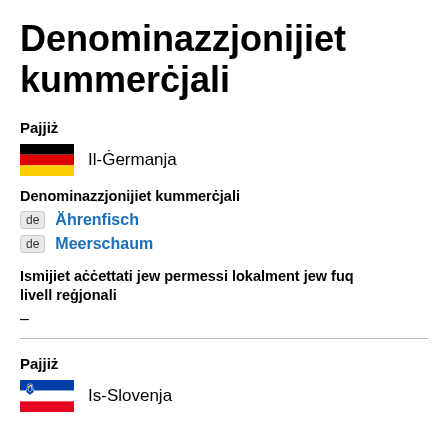Denominazzjonijiet kummerċjali
Pajjiż
Il-Ġermanja
Denominazzjonijiet kummerċjali
de Ährenfisch
de Meerschaum
Ismijiet aċċettati jew permessi lokalment jew fuq livell reġjonali
–
Pajjiż
Is-Slovenja